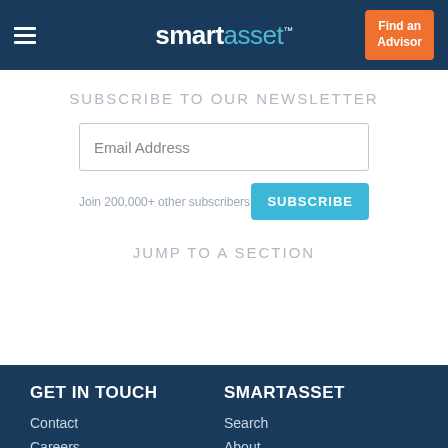smartasset™
SUBSCRIBE TO OUR NEWSLETTER
Email Address
Join 200,000+ other subscribers
SUBSCRIBE
JUMP TO A SECTION
GET IN TOUCH
SMARTASSET
Contact
Careers
Search
About